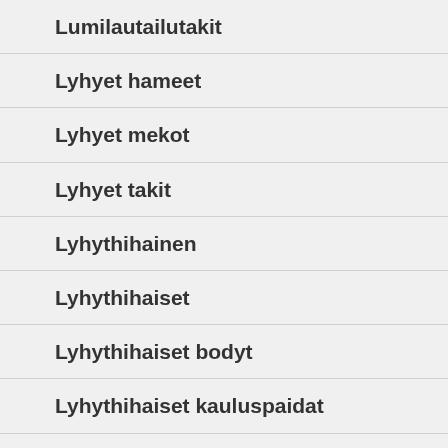Lumilautailutakit
Lyhyet hameet
Lyhyet mekot
Lyhyet takit
Lyhythihainen
Lyhythihaiset
Lyhythihaiset bodyt
Lyhythihaiset kauluspaidat
Lyhythihaiset paidat